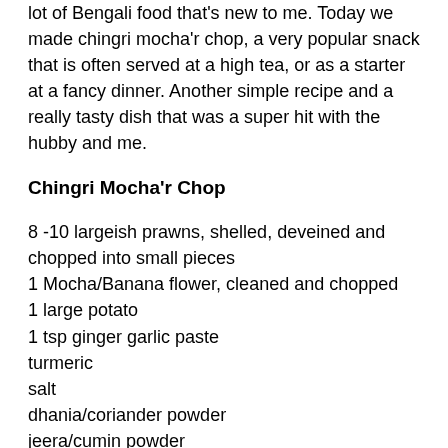lot of Bengali food that's new to me. Today we made chingri mocha'r chop, a very popular snack that is often served at a high tea, or as a starter at a fancy dinner. Another simple recipe and a really tasty dish that was a super hit with the hubby and me.
Chingri Mocha'r Chop
8 -10 largeish prawns, shelled, deveined and chopped into small pieces
1 Mocha/Banana flower, cleaned and chopped
1 large potato
1 tsp ginger garlic paste
turmeric
salt
dhania/coriander powder
jeera/cumin powder
chilli powder or chopped fresh green chilli
breadcrumbs
oil
1 egg